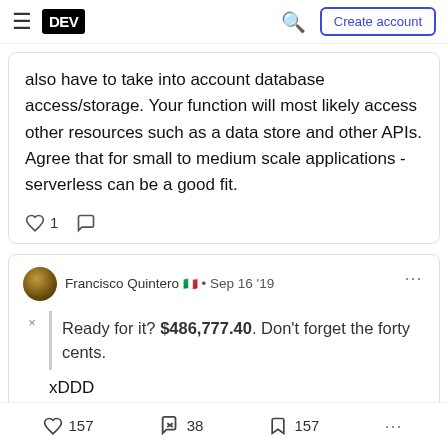DEV — Create account
also have to take into account database access/storage. Your function will most likely access other resources such as a data store and other APIs. Agree that for small to medium scale applications - serverless can be a good fit.
♡ 1  ○
Francisco Quintero 🇮🇹 • Sep 16 '19
Ready for it? $486,777.40. Don't forget the forty cents.
xDDD
♡ 157   38   157  ...